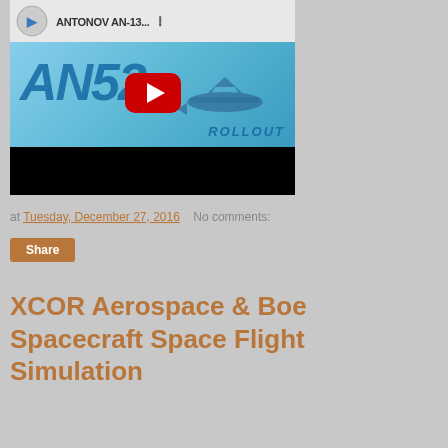[Figure (screenshot): YouTube video thumbnail for ANTONOV AN-13... showing AN-52 ROLLOUT text with a play button overlay and black bar at bottom]
at Tuesday, December 27, 2016   No comments:
Share
XCOR Aerospace & Boeing - Lynx Spacecraft Space Flight Simulation